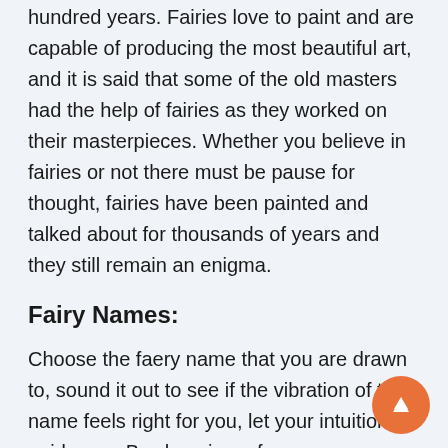hundred years. Fairies love to paint and are capable of producing the most beautiful art, and it is said that some of the old masters had the help of fairies as they worked on their masterpieces. Whether you believe in fairies or not there must be pause for thought, fairies have been painted and talked about for thousands of years and they still remain an enigma.
Fairy Names:
Choose the faery name that you are drawn to, sound it out to see if the vibration of the name feels right for you, let your intuition guide you. By choosing a faery name you are inviting faery magick into your life. Faeries are mystical creatures and life is always better when they